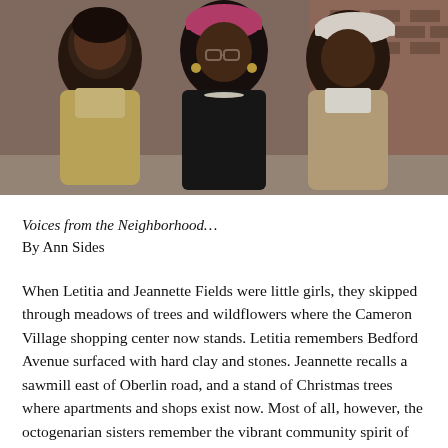[Figure (photo): Three elderly Black women posing together outdoors in front of a brick building. The woman on the left wears a yellow-patterned jacket and floral scarf, the woman in the center wears a pink hat, glasses, black top with pearls, and the woman on the right wears a white hat and tan coat.]
Voices from the Neighborhood…
By Ann Sides
When Letitia and Jeannette Fields were little girls, they skipped through meadows of trees and wildflowers where the Cameron Village shopping center now stands. Letitia remembers Bedford Avenue surfaced with hard clay and stones. Jeannette recalls a sawmill east of Oberlin road, and a stand of Christmas trees where apartments and shops exist now. Most of all, however, the octogenarian sisters remember the vibrant community spirit of Oberlin Village, a historic